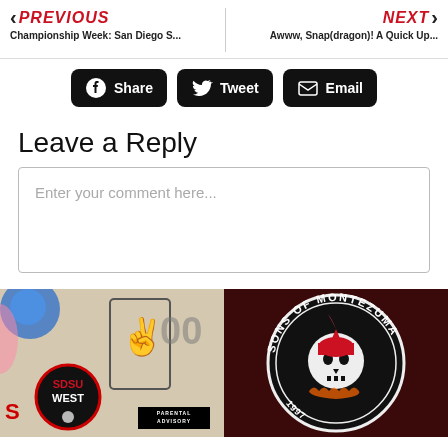← PREVIOUS | NEXT →
Championship Week: San Diego S... | Awww, Snap(dragon)! A Quick Up...
[Figure (screenshot): Navigation bar with PREVIOUS and NEXT links, share buttons (Share, Tweet, Email), Leave a Reply comment form, and a photo strip showing SDSU West sticker and Sons of Montezuma emblem]